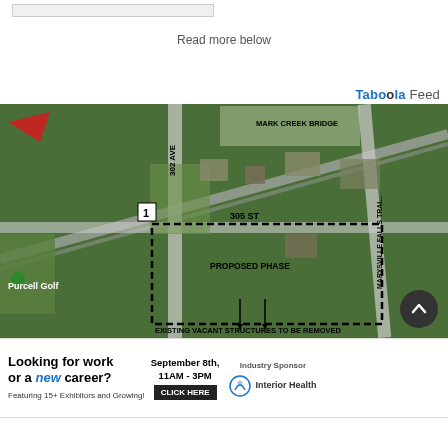[Figure (other): Top bar / search bar UI element]
Read more below
Taboola Feed
[Figure (map): Aerial/satellite map showing: 302 AVE, Mark Creek Bridge, 305 ST, Proposed Phase area (dashed boundary), Existing Vacant Structures to be Removed, Marysville Falls Trail, Purcell Golf label, and parcel number 1.]
[Figure (other): Advertisement banner: Looking for work or a new career? Featuring 15+ Exhibitors and Growing! September 8th, 11AM-3PM. CLICK HERE. Industry Sponsor: Interior Health]